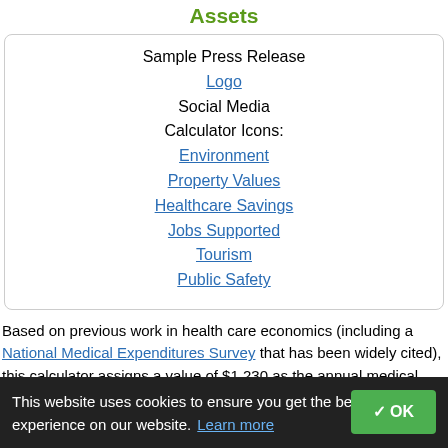Assets
Sample Press Release
Logo
Social Media
Calculator Icons:
Environment
Property Values
Healthcare Savings
Jobs Supported
Tourism
Public Safety
Based on previous work in health care economics (including a National Medical Expenditures Survey that has been widely cited), this calculator assigns a value of $1,230 as the annual medical cost savings of adults under 65 years old, who exercise regularly (according to the CDC guidelines for levels for moderate and/or vigorous physical activity
This website uses cookies to ensure you get the best experience on our website. Learn more